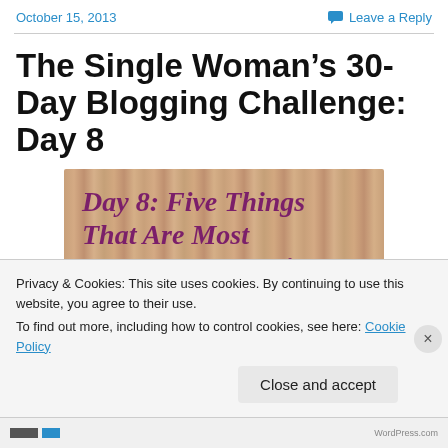October 15, 2013   Leave a Reply
The Single Woman’s 30-Day Blogging Challenge: Day 8
[Figure (photo): Blog challenge image with text: Day 8: Five Things That Are Most Important to You in a... on a wood-grain background with dark purple bold italic text]
Privacy & Cookies: This site uses cookies. By continuing to use this website, you agree to their use.
To find out more, including how to control cookies, see here: Cookie Policy
Close and accept